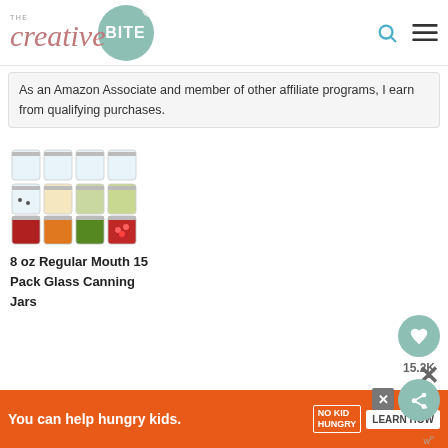The Creative Bite
As an Amazon Associate and member of other affiliate programs, I earn from qualifying purchases.
[Figure (photo): Product photo showing glass canning jars in various sizes, some empty and some filled with colorful preserved foods]
8 oz Regular Mouth 15 Pack Glass Canning Jars
[Figure (other): Advertisement banner: You can help hungry kids. No Kid Hungry. Learn How.]